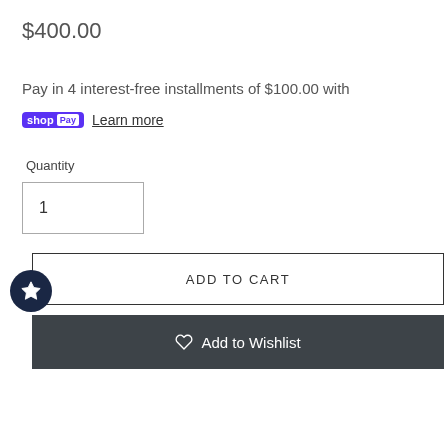$400.00
Pay in 4 interest-free installments of $100.00 with
shop Pay  Learn more
Quantity
1
ADD TO CART
♡ Add to Wishlist